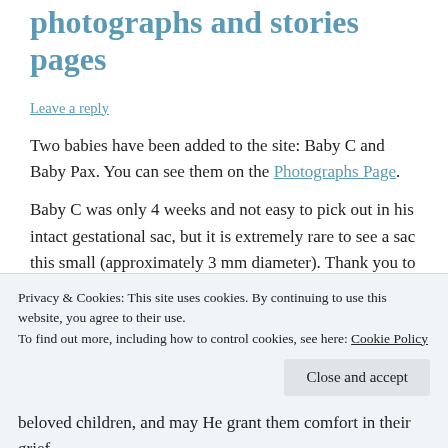photographs and stories pages
Leave a reply
Two babies have been added to the site: Baby C and Baby Pax. You can see them on the Photographs Page.
Baby C was only 4 weeks and not easy to pick out in his intact gestational sac, but it is extremely rare to see a sac this small (approximately 3 mm diameter). Thank you to his or her mother A. for sharing her baby.
Baby Pax was approximately 6.5 weeks, born at 11 weeks. He was
Privacy & Cookies: This site uses cookies. By continuing to use this website, you agree to their use.
To find out more, including how to control cookies, see here: Cookie Policy
Close and accept
beloved children, and may He grant them comfort in their grief.